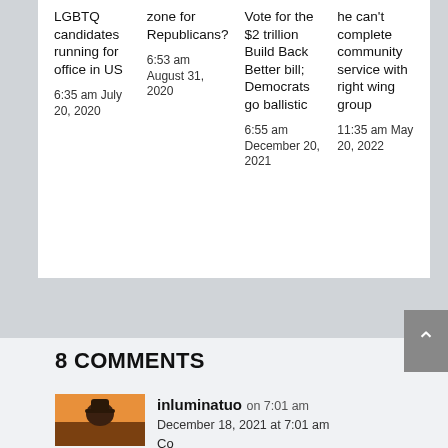LGBTQ candidates running for office in US
6:35 am July 20, 2020
zone for Republicans?
6:53 am August 31, 2020
Vote for the $2 trillion Build Back Better bill; Democrats go ballistic
6:55 am December 20, 2021
he can't complete community service with right wing group
11:35 am May 20, 2022
8 COMMENTS
inluminatuo on 7:01 am
December 18, 2021 at 7:01 am
Comment preview text...